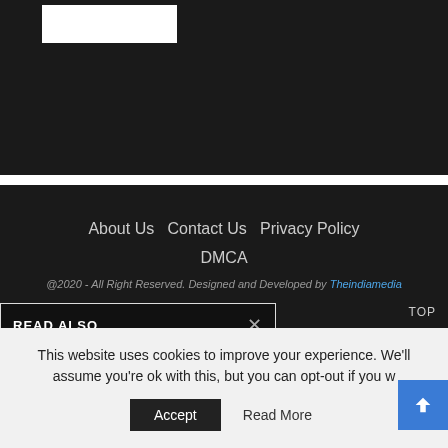About Us  Contact Us  Privacy Policy  DMCA
@2020 - All Right Reserved. Designed and Developed by Theindiamedia
READ ALSO
[Figure (logo): TheIndiaMedia FOR SALE logo thumbnail]
TheIndiaMedia Website For Sale.
17 November 2021
This website uses cookies to improve your experience. We'll assume you're ok with this, but you can opt-out if you w
Accept  Read More